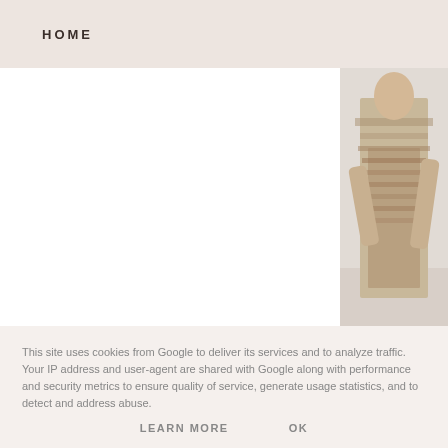HOME
[Figure (photo): Fashion photo of a person in a textured/sequined outfit, top right panel]
[Figure (photo): Fashion photo of a person in a beaded/sequined dress near a doorway, bottom right panel]
This site uses cookies from Google to deliver its services and to analyze traffic. Your IP address and user-agent are shared with Google along with performance and security metrics to ensure quality of service, generate usage statistics, and to detect and address abuse.
LEARN MORE    OK